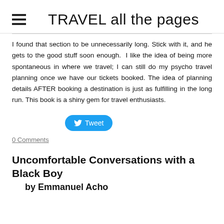TRAVEL all the pages
I found that section to be unnecessarily long. Stick with it, and he gets to the good stuff soon enough. I like the idea of being more spontaneous in where we travel; I can still do my psycho travel planning once we have our tickets booked. The idea of planning details AFTER booking a destination is just as fulfilling in the long run. This book is a shiny gem for travel enthusiasts.
[Figure (other): Twitter Tweet button (blue rounded rectangle with bird icon and 'Tweet' text)]
0 Comments
Uncomfortable Conversations with a Black Boy
by Emmanuel Acho